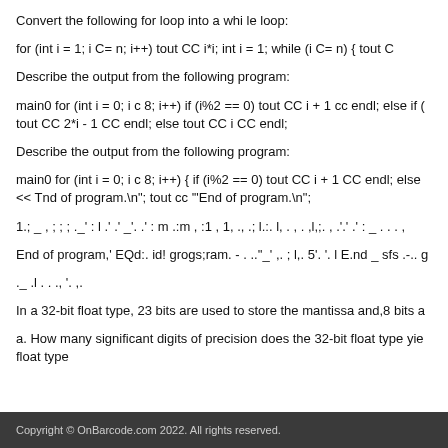Convert the following for loop into a whi le loop:
for (int i = 1; i C= n; i++) tout CC i*i; int i = 1; while (i C= n) { tout C
Describe the output from the following program:
main0 for (int i = 0; i c 8; i++) if (i%2 == 0) tout CC i + 1 cc endl; else if ( tout CC 2*i - 1 CC endl; else tout CC i CC endl;
Describe the output from the following program:
main0 for (int i = 0; i c 8; i++) { if (i%2 == 0) tout CC i + 1 CC endl; else << Tnd of program.\n"; tout cc '"End of program.\n";
1.; _ , ; ; ; ._' : l .' .' _'. .' : m .:m , :1 , 1, ., .; l.:. l, . , . ,l,;. , .'.' .' : _ . . . ,
End of program,' EQd:. id! grogs;ram. - . ..''_' ,. ; l,. 5'. '. l E.nd _ sfs .-.. g
._ .l . . ., '. ,.
In a 32-bit float type, 23 bits are used to store the mantissa and,8 bits a
a. How many significant digits of precision does the 32-bit float type yie float type
Copyright © OnBarcode.com 2022. All rights reserved.